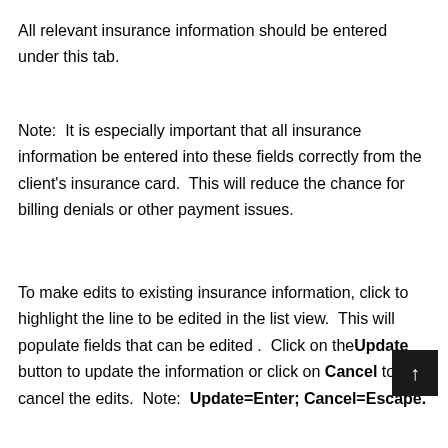All relevant insurance information should be entered under this tab.
Note:  It is especially important that all insurance information be entered into these fields correctly from the client's insurance card.  This will reduce the chance for billing denials or other payment issues.
To make edits to existing insurance information, click to highlight the line to be edited in the list view.  This will populate fields that can be edited .  Click on the Update button to update the information or click on Cancel to cancel the edits.  Note:  Update=Enter; Cancel=Escape.